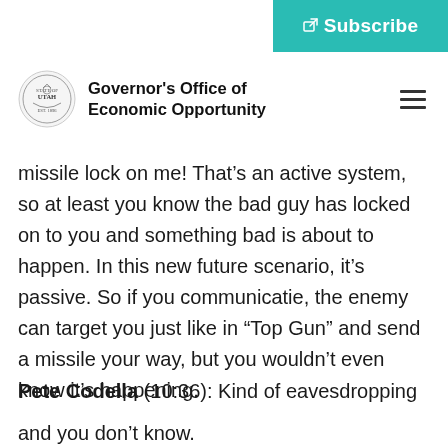[Figure (logo): Teal Subscribe button with external link icon in top-right corner]
Governor's Office of Economic Opportunity
missile lock on me! That’s an active system, so at least you know the bad guy has locked on to you and something bad is about to happen. In this new future scenario, it’s passive. So if you communicatie, the enemy can target you just like in “Top Gun” and send a missile your way, but you wouldn’t even know it’s happening.
Pete Codella (10:36): Kind of eavesdropping and you don’t know.